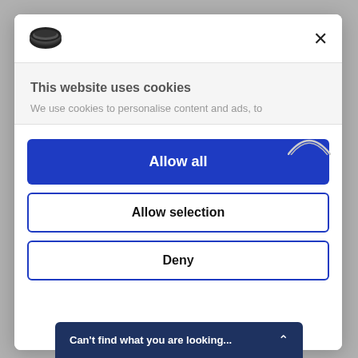[Figure (logo): Cookie consent modal logo - stylized cookie/dome shape icon in dark color]
X
This website uses cookies
We use cookies to personalise content and ads, to
Allow all
Allow selection
Deny
Can't find what you are looking...